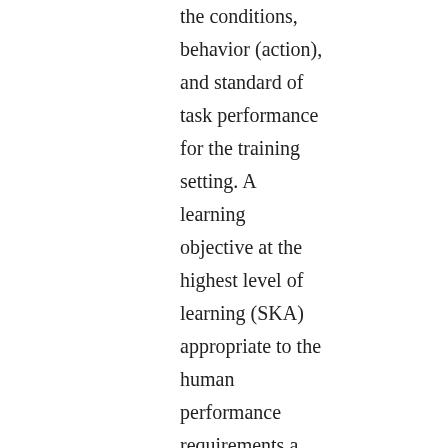the conditions, behavior (action), and standard of task performance for the training setting. A learning objective at the highest level of learning (SKA) appropriate to the human performance requirements a student will accomplish when successfully completing